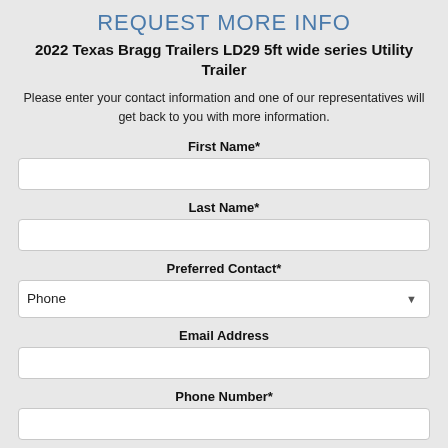REQUEST MORE INFO
2022 Texas Bragg Trailers LD29 5ft wide series Utility Trailer
Please enter your contact information and one of our representatives will get back to you with more information.
First Name*
Last Name*
Preferred Contact*
Email Address
Phone Number*
Zip Code